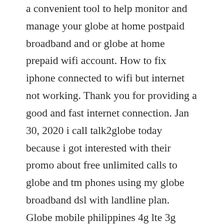a convenient tool to help monitor and manage your globe at home postpaid broadband and or globe at home prepaid wifi account. How to fix iphone connected to wifi but internet not working. Thank you for providing a good and fast internet connection. Jan 30, 2020 i call talk2globe today because i got interested with their promo about free unlimited calls to globe and tm phones using my globe broadband dsl with landline plan. Globe mobile philippines 4g lte 3g internet and mms settings for iphone 7s 6s 5s 4s ipad mini pro 4 ios7 globe lte apn settings for iphone postpaid. When you access